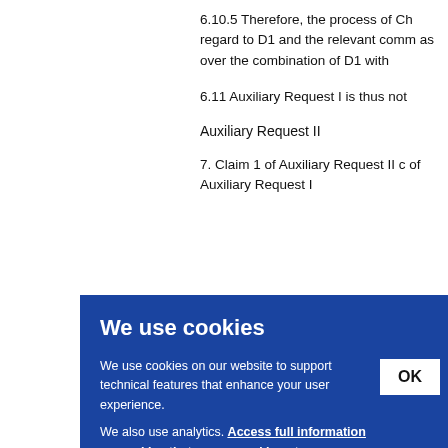6.10.5 Therefore, the process of Ch regard to D1 and the relevant comm as over the combination of D1 with
6.11 Auxiliary Request I is thus not
Auxiliary Request II
7. Claim 1 of Auxiliary Request II c of Auxiliary Request I a sol Req or pr xliar oint X wn fr ent. D
We use cookies
We use cookies on our website to support technical features that enhance your user experience. We also use analytics. Access full information on cookies that we use and how to manage them